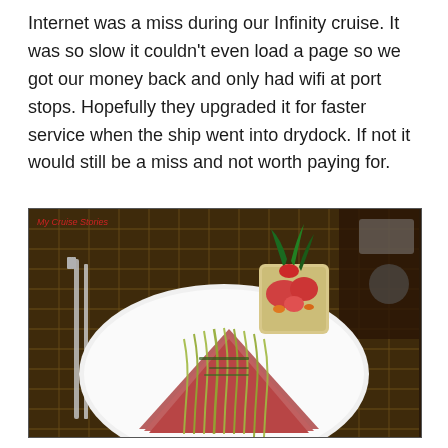Internet was a miss during our Infinity cruise. It was so slow it couldn't even load a page so we got our money back and only had wifi at port stops. Hopefully they upgraded it for faster service when the ship went into drydock. If not it would still be a miss and not worth paying for.
[Figure (photo): A cruise ship dinner plate with layered meat slices drizzled with a green herb sauce, alongside a small square bowl of tomatoes and vegetables with leafy greens on top. Silverware visible on left on a woven placemat. Watermark reads 'My Cruise Stories'.]